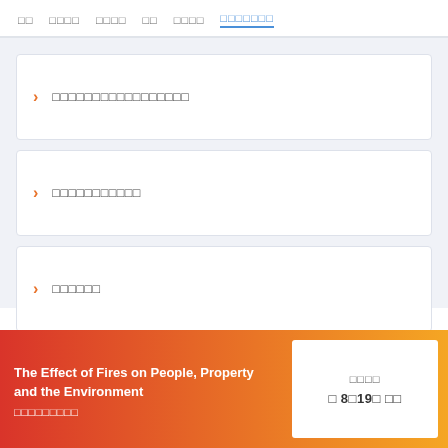□□  □□□□  □□□□  □□  □□□□  □□□□□□□
□□□□□□□□□□□□□□□□□
□□□□□□□□□□□
□□□□□□
The Effect of Fires on People, Property and the Environment
□□□□□□□□□
□□□□
□ 8□19□ □□